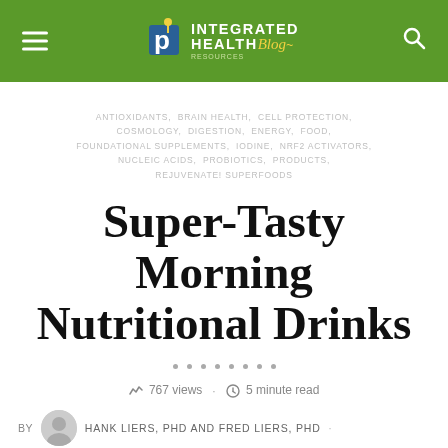[Figure (logo): Integrated Health Blog logo with green header bar, hamburger menu icon on left, magnifying glass search icon on right]
ANTIOXIDANTS, BRAIN HEALTH, CELL PROTECTION, COSMOLOGY, DIGESTION, ENERGY, FOOD, FOUNDATIONAL SUPPLEMENTS, IODINE, NRF2 ACTIVATORS, NUCLEIC ACIDS, PROBIOTICS, PRODUCTS, REJUVENATE! SUPERFOODS
Super-Tasty Morning Nutritional Drinks
767 views · 5 minute read
By HANK LIERS, PHD AND FRED LIERS, PHD ·